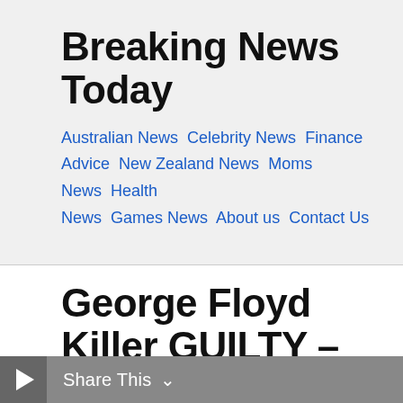Breaking News Today
Australian News  Celebrity News  Finance Advice  New Zealand News  Moms News  Health News  Games News  About us  Contact Us
George Floyd Killer GUILTY – Republicans Plan 'March On Washington'
Share This